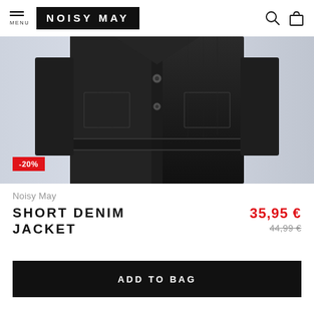MENU | NOISY MAY
[Figure (photo): Close-up photo of a black short denim jacket, showing the front with buttons and pockets. A red badge with -20% discount is overlaid on the bottom left of the image.]
Noisy May
SHORT DENIM JACKET
35,95 €
44,99 €
ADD TO BAG